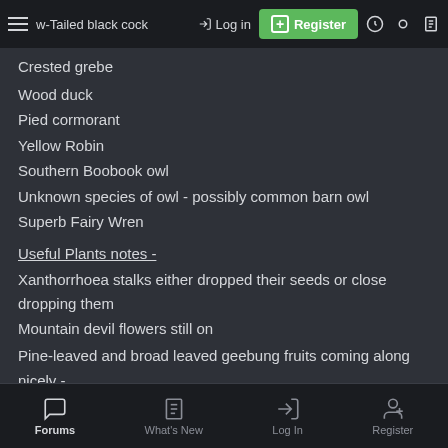Crimson Rosella / Yellow-Tailed black cockatoo... Log in | Register
Crested grebe
Wood duck
Pied cormorant
Yellow Robin
Southern Boobook owl
Unknown species of owl - possibly common barn owl
Superb Fairy Wren
Useful Plants notes -
Xanthorrhoea stalks either dropped their seeds or close dropping them
Mountain devil flowers still on
Pine-leaved and broad leaved geebung fruits coming along nicely - should be edible in a month or two
Forums | What's New | Log In | Register